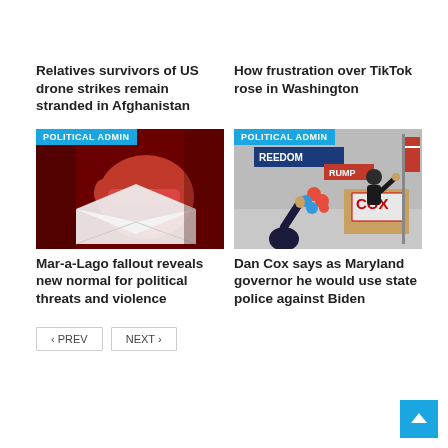Relatives survivors of US drone strikes remain stranded in Afghanistan
How frustration over TikTok rose in Washington
[Figure (photo): A red fist gripping an envelope against a dark red background, with POLITICAL ADMIN badge]
[Figure (photo): A political rally scene with a man at a COX podium raising his hand, with POLITICAL ADMIN badge]
Mar-a-Lago fallout reveals new normal for political threats and violence
Dan Cox says as Maryland governor he would use state police against Biden